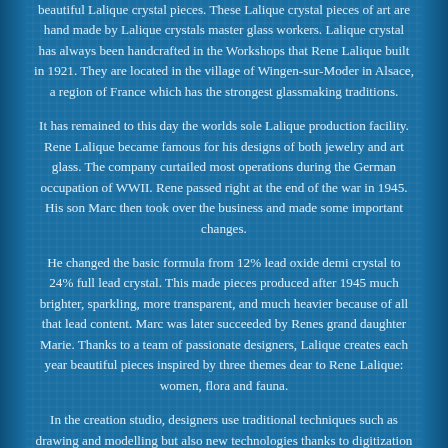beautiful Lalique crystal pieces. These Lalique crystal pieces of art are hand made by Lalique crystals master glass workers. Lalique crystal has always been handcrafted in the Workshops that Rene Lalique built in 1921. They are located in the village of Wingen-sur-Moder in Alsace, a region of France which has the strongest glassmaking traditions.
It has remained to this day the worlds sole Lalique production facility. Rene Lalique became famous for his designs of both jewelry and art glass. The company curtailed most operations during the German occupation of WWII. Rene passed right at the end of the war in 1945. His son Marc then took over the business and made some important changes.
He changed the basic formula from 12% lead oxide demi crystal to 24% full lead crystal. This made pieces produced after 1945 much brighter, sparkling, more transparent, and much heavier because of all that lead content. Marc was later succeeded by Renes grand daughter Marie. Thanks to a team of passionate designers, Lalique creates each year beautiful pieces inspired by three themes dear to Rene Lalique: women, flora and fauna.
In the creation studio, designers use traditional techniques such as drawing and modelling but also new technologies thanks to digitization and 3D printing. Once at the factory, the manufacturing process begins. A single crystal piece can require up to 40 different steps. With precise and regular movements, the human hand, that of both artist and craftsman,